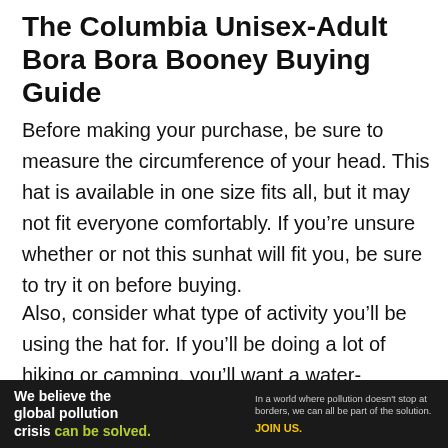The Columbia Unisex-Adult Bora Bora Booney Buying Guide
Before making your purchase, be sure to measure the circumference of your head. This hat is available in one size fits all, but it may not fit everyone comfortably. If you’re unsure whether or not this sunhat will fit you, be sure to try it on before buying.
Also, consider what type of activity you’ll be using the hat for. If you’ll be doing a lot of hiking or camping, you’ll want a water-resistant hat and can handle a little bit of wear and tear. If you are casually wearing the hat, any light and airy sunhat will do.
[Figure (other): Pure Earth advertisement banner with dark background: 'We believe the global pollution crisis can be solved.' with Pure Earth logo on the right.]